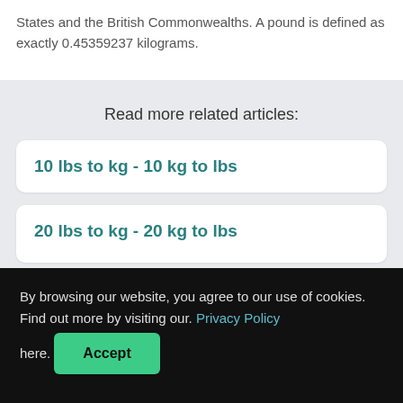States and the British Commonwealths. A pound is defined as exactly 0.45359237 kilograms.
Read more related articles:
10 lbs to kg - 10 kg to lbs
20 lbs to kg - 20 kg to lbs
By browsing our website, you agree to our use of cookies. Find out more by visiting our. Privacy Policy here.